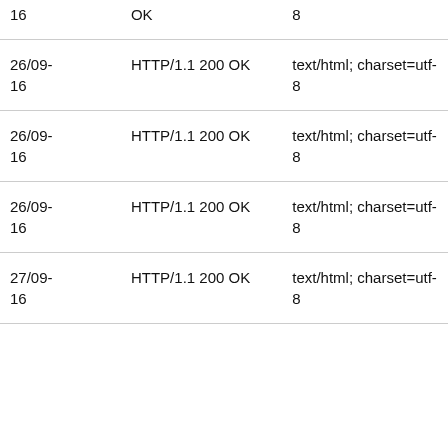| 16 | OK | 8 |
| 26/09-16 | HTTP/1.1 200 OK | text/html; charset=utf-8 |
| 26/09-16 | HTTP/1.1 200 OK | text/html; charset=utf-8 |
| 26/09-16 | HTTP/1.1 200 OK | text/html; charset=utf-8 |
| 27/09-16 | HTTP/1.1 200 OK | text/html; charset=utf-8 |